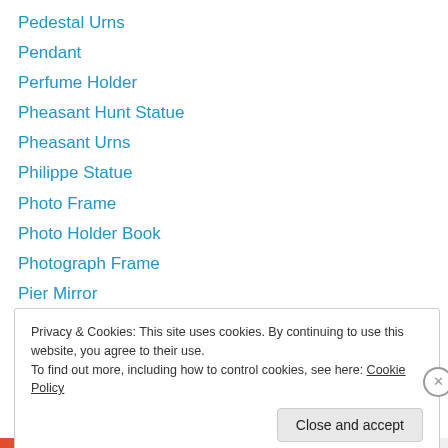Pedestal Urns
Pendant
Perfume Holder
Pheasant Hunt Statue
Pheasant Urns
Philippe Statue
Photo Frame
Photo Holder Book
Photograph Frame
Pier Mirror
Pillar Cabinet
Planter – Dish Bowl
Planter – Mermaid Figurine
Privacy & Cookies: This site uses cookies. By continuing to use this website, you agree to their use.
To find out more, including how to control cookies, see here: Cookie Policy
Close and accept